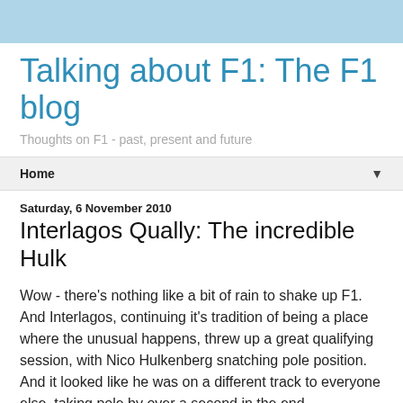Talking about F1: The F1 blog
Thoughts on F1 - past, present and future
Home
Saturday, 6 November 2010
Interlagos Qually: The incredible Hulk
Wow - there's nothing like a bit of rain to shake up F1. And Interlagos, continuing it's tradition of being a place where the unusual happens, threw up a great qualifying session, with Nico Hulkenberg snatching pole position. And it looked like he was on a different track to everyone else, taking pole by over a second in the end.
The Williams have usually been competitive in wet